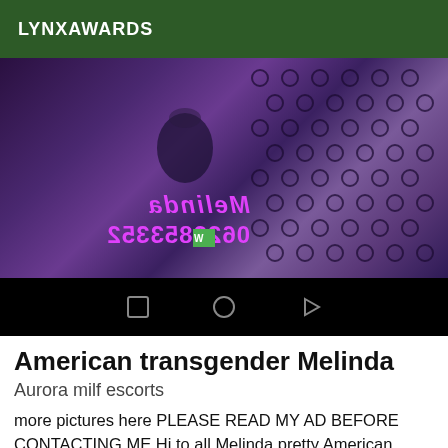LYNXAWARDS
[Figure (screenshot): Screenshot of a mobile app showing a video with mirrored text reading 'Melinda' and '0622835532' with a WhatsApp icon, over a purple-toned image of a person with dark hair wearing a polka dot outfit. Below the image is an Android navigation bar with square, circle, and triangle icons.]
American transgender Melinda
Aurora milf escorts
more pictures here PLEASE READ MY AD BEFORE CONTACTING ME Hi to all Melinda pretty American transgender American hyper feminine soft voice ultra sexy 179cm 68kg the surprise 20cm real !! I receive